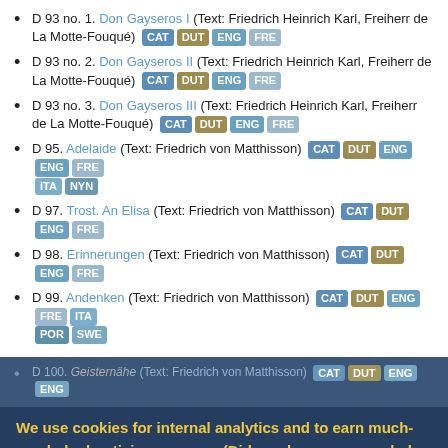D 93 no. 1. Don Gayseros I (Text: Friedrich Heinrich Karl, Freiherr de La Motte-Fouqué) CAT DUT ENG FRE
D 93 no. 2. Don Gayseros II (Text: Friedrich Heinrich Karl, Freiherr de La Motte-Fouqué) CAT DUT ENG FRE
D 93 no. 3. Don Gayseros III (Text: Friedrich Heinrich Karl, Freiherr de La Motte-Fouqué) CAT DUT ENG FRE
D 95. Adelaide (Text: Friedrich von Matthisson) CAT DUT ENG ENG FRE ITA NYN
D 97. Trost. An Elisa (Text: Friedrich von Matthisson) CAT DUT ENG FRE
D 98. Erinnerungen (Text: Friedrich von Matthisson) CAT DUT ENG FRE
D 99. Andenken (Text: Friedrich von Matthisson) CAT DUT ENG FRE ITA POR SWE
D 100. Geisternähe (Text: Friedrich von Matthisson) CAT DUT ENG ENG
D 101. ... (Text: Friedrich von Matthisson) ... FRE
We use cookies for internal analytics and to earn much-needed advertising revenue. (Did you know you can help support us by turning off ad-blockers?) To learn more, see our Privacy Policy. To learn how to opt out of cookies, please visit this site.
I acknowledge the use of cookies